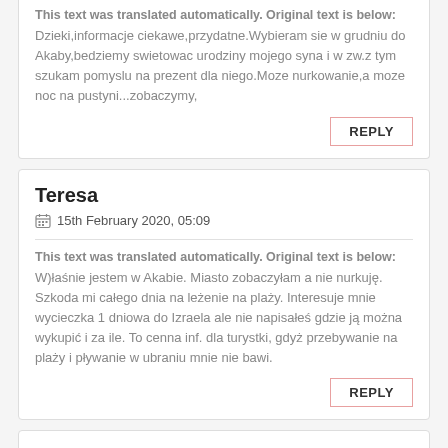This text was translated automatically. Original text is below:
Dzieki,informacje ciekawe,przydatne.Wybieram sie w grudniu do Akaby,bedziemy swietowac urodziny mojego syna i w zw.z tym szukam pomyslu na prezent dla niego.Moze nurkowanie,a moze noc na pustyni...zobaczymy,
REPLY
Teresa
15th February 2020, 05:09
This text was translated automatically. Original text is below:
W)łaśnie jestem w Akabie. Miasto zobaczyłam a nie nurkuję. Szkoda mi całego dnia na leżenie na plaży. Interesuje mnie wycieczka 1 dniowa do Izraela ale nie napisałeś gdzie ją można wykupić i za ile. To cenna inf. dla turystki, gdyż przebywanie na plaży i pływanie w ubraniu mnie nie bawi.
REPLY
Topbrainscience.com
24th February 2020, 18:44